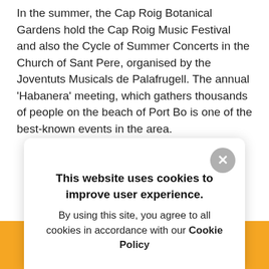In the summer, the Cap Roig Botanical Gardens hold the Cap Roig Music Festival and also the Cycle of Summer Concerts in the Church of Sant Pere, organised by the Joventuts Musicals de Palafrugell. The annual 'Habanera' meeting, which gathers thousands of people on the beach of Port Bo is one of the best-known events in the area.
This website uses cookies to improve user experience. By using this site, you agree to all cookies in accordance with our Cookie Policy